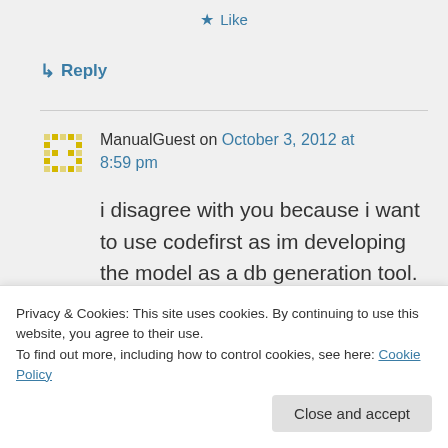★ Like
↳ Reply
ManualGuest on October 3, 2012 at 8:59 pm
i disagree with you because i want to use codefirst as im developing the model as a db generation tool. i want to define properties rather then
Privacy & Cookies: This site uses cookies. By continuing to use this website, you agree to their use.
To find out more, including how to control cookies, see here: Cookie Policy
Close and accept